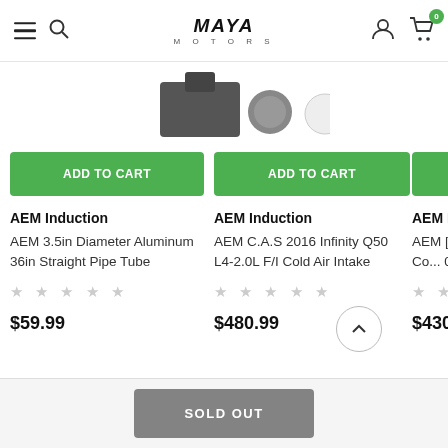Maya Motors - Navigation header with hamburger menu, search icon, Maya Motors logo, user icon, and cart with 0 items
[Figure (photo): Partial product image visible at top center, appears to be an automotive air intake component]
ADD TO CART
AEM Induction
AEM 3.5in Diameter Aluminum 36in Straight Pipe Tube
$59.99
ADD TO CART
AEM Induction
AEM C.A.S 2016 Infinity Q50 L4-2.0L F/I Cold Air Intake
$480.99
ADD
AEM Induct
AEM [?] Hy... Co... 0L
$430.99
SOLD OUT